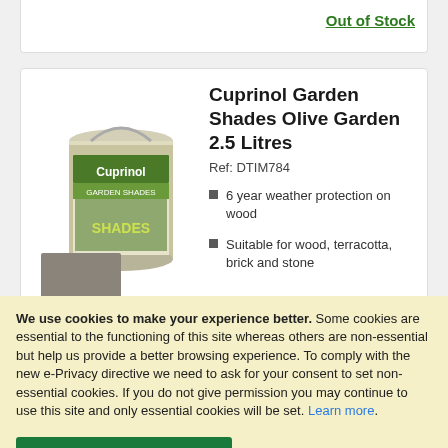Out of Stock
[Figure (photo): Cuprinol Garden Shades paint can with Olive Garden color swatch]
Cuprinol Garden Shades Olive Garden 2.5 Litres
Ref: DTIM784
6 year weather protection on wood
Suitable for wood, terracotta, brick and stone
We use cookies to make your experience better. Some cookies are essential to the functioning of this site whereas others are non-essential but help us provide a better browsing experience. To comply with the new e-Privacy directive we need to ask for your consent to set non-essential cookies. If you do not give permission you may continue to use this site and only essential cookies will be set. Learn more.
ALLOW ALL COOKIES